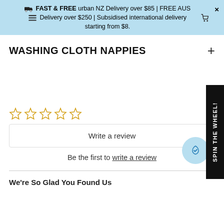🚚 FAST & FREE urban NZ Delivery over $85 | FREE AUS Delivery over $250 | Subsidised international delivery starting from $8.
WASHING CLOTH NAPPIES
[Figure (other): Five empty (unfilled) star rating icons in yellow/gold outline]
Write a review
Be the first to write a review
We're So Glad You Found Us